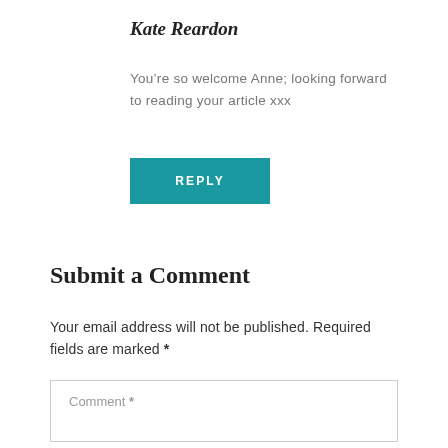Kate Reardon
You’re so welcome Anne; looking forward to reading your article xxx
REPLY
Submit a Comment
Your email address will not be published. Required fields are marked *
Comment *